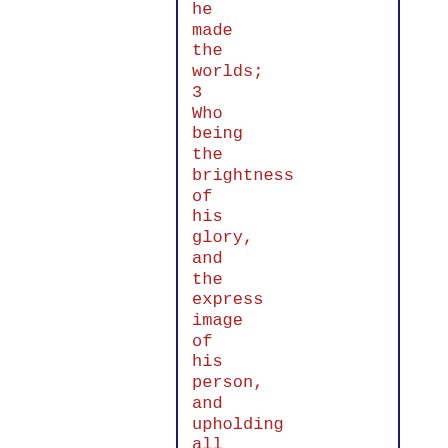he made the worlds; 3 Who being the brightness of his glory, and the express image of his person, and upholding all things by the word of